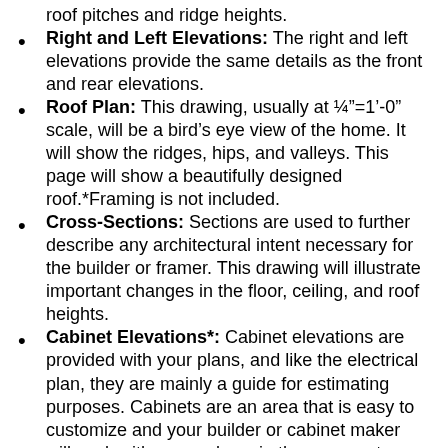roof pitches and ridge heights.
Right and Left Elevations: The right and left elevations provide the same details as the front and rear elevations.
Roof Plan: This drawing, usually at ¼"=1'-0" scale, will be a bird's eye view of the home. It will show the ridges, hips, and valleys. This page will show a beautifully designed roof.*Framing is not included.
Cross-Sections: Sections are used to further describe any architectural intent necessary for the builder or framer. This drawing will illustrate important changes in the floor, ceiling, and roof heights.
Cabinet Elevations*: Cabinet elevations are provided with your plans, and like the electrical plan, they are mainly a guide for estimating purposes. Cabinets are an area that is easy to customize and your builder or cabinet maker will work with you early on in the process to ensure that the correct cabinets are specified. Archival Designs believes cabinets should reflect your taste and budget. After framing and sheet rock